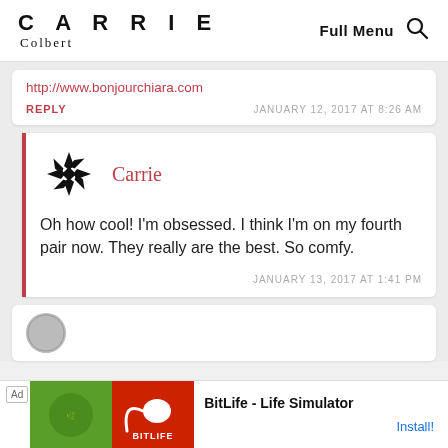CARRIE Colbert — Full Menu [search icon]
http://www.bonjourchiara.com
REPLY   JANUARY 12, 2017 AT 8:26 AM
[Figure (logo): Carrie Colbert website logo — geometric circular black pinwheel/star symbol]
Carrie
Oh how cool! I'm obsessed. I think I'm on my fourth pair now. They really are the best. So comfy.
JANUARY 13, 2017 AT 1:41 PM
[Figure (screenshot): Partial view of next comment avatar]
[Figure (screenshot): Ad banner: BitLife - Life Simulator, Install!]